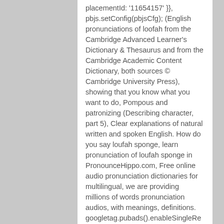placementId: '11654157' }}, pbjs.setConfig(pbjsCfg); (English pronunciations of loofah from the Cambridge Advanced Learner's Dictionary & Thesaurus and from the Cambridge Academic Content Dictionary, both sources © Cambridge University Press), showing that you know what you want to do, Pompous and patronizing (Describing character, part 5), Clear explanations of natural written and spoken English. How do you say loufah sponge, learn pronunciation of loufah sponge in PronounceHippo.com, Free online audio pronunciation dictionaries for multilingual, we are providing millions of words pronunciation audios, with meanings, definitions. googletag.pubads().enableSingleRequest();